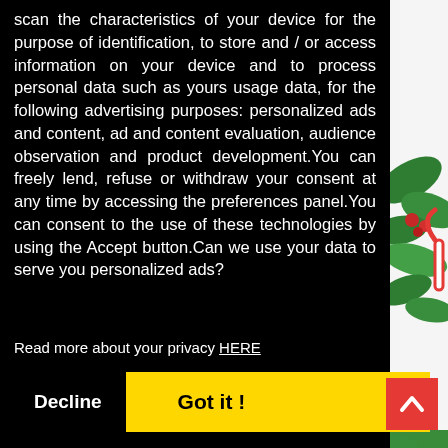olidays
[Figure (photo): Background photo of Christmas decorations including green holly/wreath with red berries and candy canes, partially visible behind the modal overlay on the right side.]
scan the characteristics of your device for the purpose of identification, to store and / or access information on your device and to process personal data such as yours usage data, for the following advertising purposes: personalized ads and content, ad and content evaluation, audience observation and product development.You can freely lend, refuse or withdraw your consent at any time by accessing the preferences panel.You can consent to the use of these technologies by using the Accept button.Can we use your data to serve you personalized ads?
Read more about your privacy HERE
Decline
Got it !